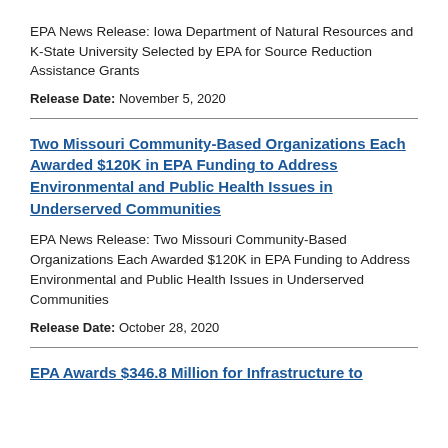EPA News Release: Iowa Department of Natural Resources and K-State University Selected by EPA for Source Reduction Assistance Grants
Release Date: November 5, 2020
Two Missouri Community-Based Organizations Each Awarded $120K in EPA Funding to Address Environmental and Public Health Issues in Underserved Communities
EPA News Release: Two Missouri Community-Based Organizations Each Awarded $120K in EPA Funding to Address Environmental and Public Health Issues in Underserved Communities
Release Date: October 28, 2020
EPA Awards $346.8 Million for Infrastructure to